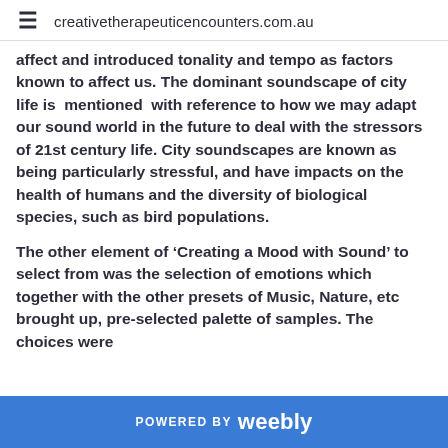creativetherapeuticencounters.com.au
affect and introduced tonality and tempo as factors known to affect us. The dominant soundscape of city life is  mentioned  with reference to how we may adapt our sound world in the future to deal with the stressors of 21st century life. City soundscapes are known as being particularly stressful, and have impacts on the health of humans and the diversity of biological species, such as bird populations.
The other element of ‘Creating a Mood with Sound’ to select from was the selection of emotions which together with the other presets of Music, Nature, etc brought up, pre-selected palette of samples. The choices were
POWERED BY weebly